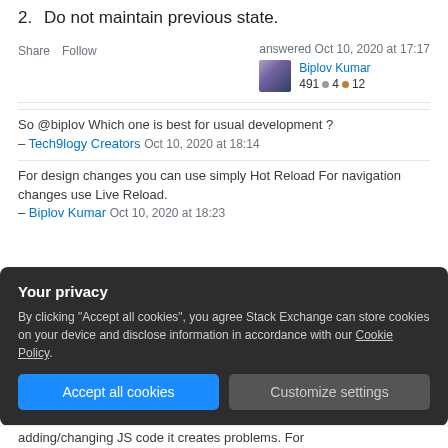2. Do not maintain previous state.
Share   Follow   answered Oct 10, 2020 at 17:17   Biplov Kumar   491 ● 4 ● 12
So @biplov Which one is best for usual development ? – Tech9logy Creators Oct 10, 2020 at 18:14
For design changes you can use simply Hot Reload For navigation changes use Live Reload. – Biplov Kumar Oct 10, 2020 at 18:23
Your privacy
By clicking "Accept all cookies", you agree Stack Exchange can store cookies on your device and disclose information in accordance with our Cookie Policy.
Accept all cookies   Customize settings
adding/changing JS code it creates problems. For